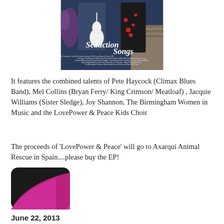[Figure (photo): Album cover for 'Seduction Songs' showing two people (man with guitar, woman in floral dress) with album title text and credits listing Pete Haycock, Mel Collins, Jacquie Williams, Joy Shannon, Birmingham Women in Music, LovePower & Peace Kids Choir, Mark Sheppard, Robin George, The Offerings]
It features the combined talents of Pete Haycock (Climax Blues Band), Mel Collins (Bryan Ferry/ King Crimson/ Meatloaf) , Jacquie Williams (Sister Sledge), Joy Shannon, The Birmingham Women in Music and the LovePower & Peace Kids Choir
The proceeds of 'LovePower & Peace' will go to Axarqui Animal Rescue in Spain....please buy the EP!
[Figure (screenshot): Partial view of a smartphone or app icon — dark background with pink/magenta curved shape]
June 22, 2013